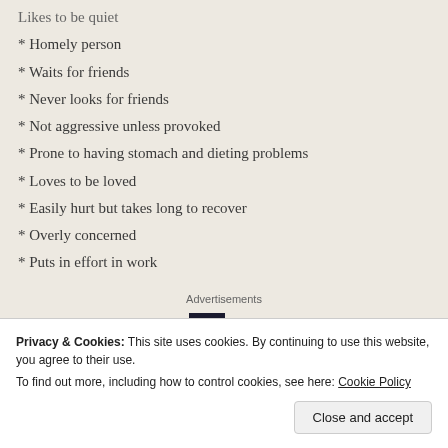Likes to be quiet
* Homely person
* Waits for friends
* Never looks for friends
* Not aggressive unless provoked
* Prone to having stomach and dieting problems
* Loves to be loved
* Easily hurt but takes long to recover
* Overly concerned
* Puts in effort in work
Advertisements
[Figure (logo): P2 logo with dark square icon and bold P2 text]
Privacy & Cookies: This site uses cookies. By continuing to use this website, you agree to their use.
To find out more, including how to control cookies, see here: Cookie Policy
Close and accept